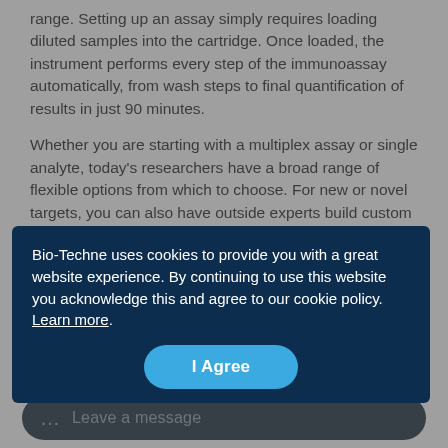range. Setting up an assay simply requires loading diluted samples into the cartridge. Once loaded, the instrument performs every step of the immunoassay automatically, from wash steps to final quantification of results in just 90 minutes.
Whether you are starting with a multiplex assay or single analyte, today's researchers have a broad range of flexible options from which to choose. For new or novel targets, you can also have outside experts build custom multiplex panels to meet your specific research needs.
Bio-Techne uses cookies to provide you with a great website experience. By continuing to use this website you acknowledge this and agree to our cookie policy. Learn more.
Accelerate Results with Simple Plex
Leave a message